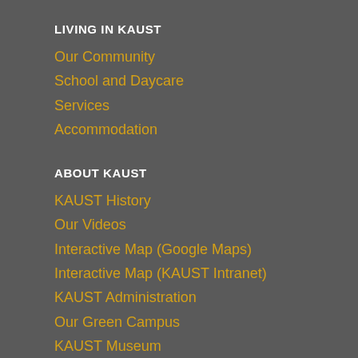LIVING IN KAUST
Our Community
School and Daycare
Services
Accommodation
ABOUT KAUST
KAUST History
Our Videos
Interactive Map (Google Maps)
Interactive Map (KAUST Intranet)
KAUST Administration
Our Green Campus
KAUST Museum
Research at KAUST
Connecting Research & Industry
Faculty
Careers